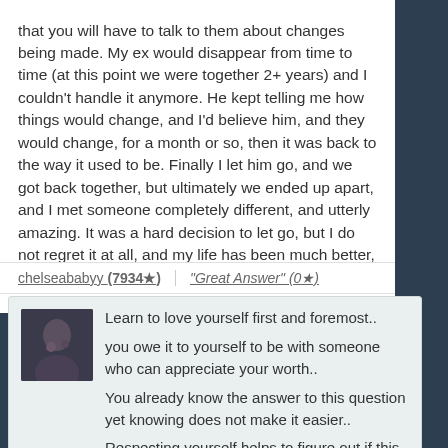that you will have to talk to them about changes being made. My ex would disappear from time to time (at this point we were together 2+ years) and I couldn't handle it anymore. He kept telling me how things would change, and I'd believe him, and they would change, for a month or so, then it was back to the way it used to be. Finally I let him go, and we got back together, but ultimately we ended up apart, and I met someone completely different, and utterly amazing. It was a hard decision to let go, but I do not regret it at all, and my life has been much better, and filled with much less hurt.
chelseababyy (7934★)   "Great Answer" (0★)
[Figure (photo): Small avatar image of a person]
Learn to love yourself first and foremost.. you owe it to yourself to be with someone who can appreciate your worth.. You already know the answer to this question yet knowing does not make it easier.. Respecting yourself helps to figure out if this person should be in your life..are you placing "them" before "you"..